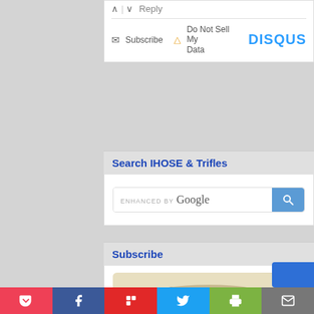^ | v  Reply
Subscribe   ▲ Do Not Sell My Data   DISQUS
Search IHOSE & Trifles
[Figure (screenshot): Google custom search box with 'ENHANCED BY Google' text and blue search button]
Subscribe
[Figure (illustration): Vintage illustration of a person lying on the ground]
[Figure (screenshot): Social sharing bar with Pocket, Facebook, Flipboard, Twitter, Print, and Email buttons]